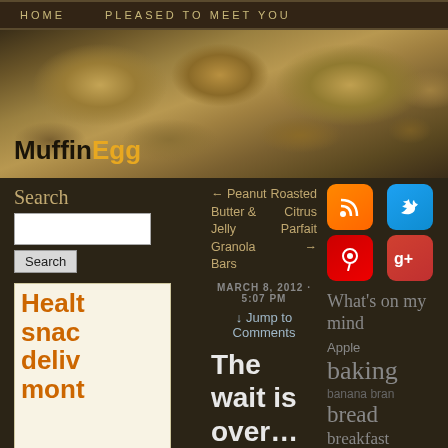HOME   PLEASED TO MEET YOU
[Figure (photo): Header image showing baked muffins on a cooling rack with site logo overlay reading MuffinEgg]
MuffinEgg
Search
← Peanut Butter & Jelly Granola Bars
Roasted Citrus Parfait →
[Figure (infographic): Social media icons: RSS feed (orange), Twitter (blue), Pinterest (red), Google+ (red)]
MARCH 8, 2012 · 5:07 PM
↓ Jump to Comments
[Figure (photo): Partially visible advertisement for healthy snacks delivered monthly, with orange bold text]
The wait is over…and muffins
What's on my mind
Apple
baking
banana bran
bread
breakfast